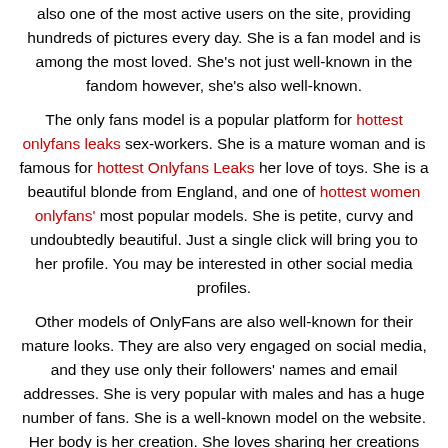also one of the most active users on the site, providing hundreds of pictures every day. She is a fan model and is among the most loved. She's not just well-known in the fandom however, she's also well-known.
The only fans model is a popular platform for hottest onlyfans leaks sex-workers. She is a mature woman and is famous for hottest Onlyfans Leaks her love of toys. She is a beautiful blonde from England, and one of hottest women onlyfans' most popular models. She is petite, curvy and undoubtedly beautiful. Just a single click will bring you to her profile. You may be interested in other social media profiles.
Other models of OnlyFans are also well-known for their mature looks. They are also very engaged on social media, and they use only their followers' names and email addresses. She is very popular with males and has a huge number of fans. She is a well-known model on the website. Her body is her creation. She loves sharing her creations with her fans. It's not easy to make friends, but you can easily discover a handful of them on Instagram.
OnlyFans is an exciting and interactive platform for both male and female creators. The security features ensure that fans don't copy the content. It's also not very efficient in use, and base clients to...